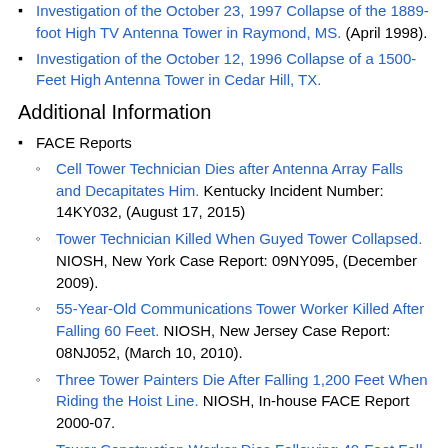Investigation of the October 23, 1997 Collapse of the 1889-foot High TV Antenna Tower in Raymond, MS. (April 1998).
Investigation of the October 12, 1996 Collapse of a 1500-Feet High Antenna Tower in Cedar Hill, TX.
Additional Information
FACE Reports
Cell Tower Technician Dies after Antenna Array Falls and Decapitates Him. Kentucky Incident Number: 14KY032, (August 17, 2015)
Tower Technician Killed When Guyed Tower Collapsed. NIOSH, New York Case Report: 09NY095, (December 2009).
55-Year-Old Communications Tower Worker Killed After Falling 60 Feet. NIOSH, New Jersey Case Report: 08NJ052, (March 10, 2010).
Three Tower Painters Die After Falling 1,200 Feet When Riding the Hoist Line. NIOSH, In-house FACE Report 2000-07.
Tower Construction Worker Dies Following 40-Foot Fall From Cellular Tower. NIOSH, MO FACE Investigation 99MO138, (May 22, 2001).